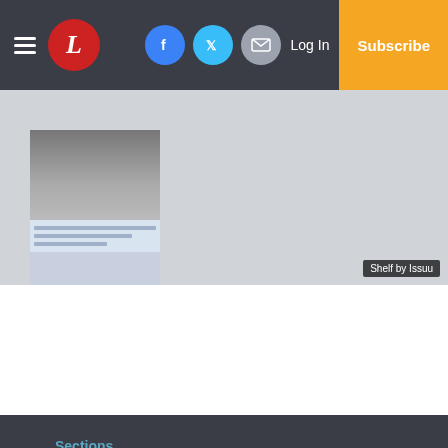Header bar with hamburger menu, L logo, Facebook/Twitter/Mail icons, Log In, Subscribe
[Figure (screenshot): Issuu shelf preview showing a magazine/newspaper page thumbnail with 'Shelf by Issuu' label]
Sections
Home
News
Sports
Opinion
Classifieds
Small Business
Services